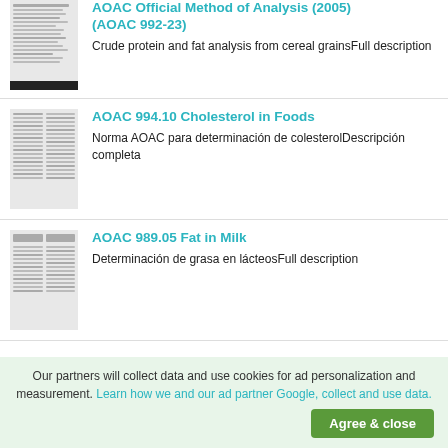[Figure (screenshot): Thumbnail of AOAC Official Method document page (cereal grains protein/fat)]
AOAC Official Method of Analysis (2005) (AOAC 992-23)
Crude protein and fat analysis from cereal grainsFull description
[Figure (screenshot): Thumbnail of AOAC 994.10 Cholesterol in Foods document page]
AOAC 994.10 Cholesterol in Foods
Norma AOAC para determinación de colesterolDescripción completa
[Figure (screenshot): Thumbnail of AOAC 989.05 Fat in Milk document page]
AOAC 989.05 Fat in Milk
Determinación de grasa en lácteosFull description
Our partners will collect data and use cookies for ad personalization and measurement. Learn how we and our ad partner Google, collect and use data.
Agree & close